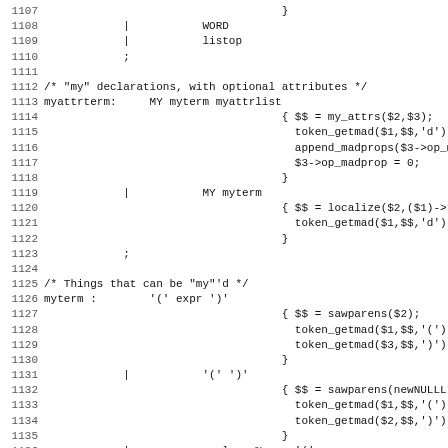Source code listing lines 1107-1138, showing grammar rules for 'my' declarations and myterm productions in what appears to be a parser grammar file (yacc/bison style).